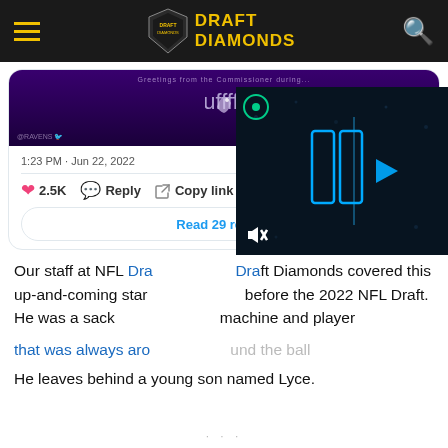DRAFT DIAMONDS
[Figure (screenshot): Baltimore Ravens tweet embed showing a purple-background Ravens graphic with Raven logo, timestamp 1:23 PM · Jun 22, 2022, with 2.5K likes, Reply, and Copy link actions, and a Read 29 replies button.]
Our staff at NFL Draft Diamonds covered this up-and-coming star before the 2022 NFL Draft. He was a sack machine and player that was always around the ball.
He leaves behind a young son named Lyce.